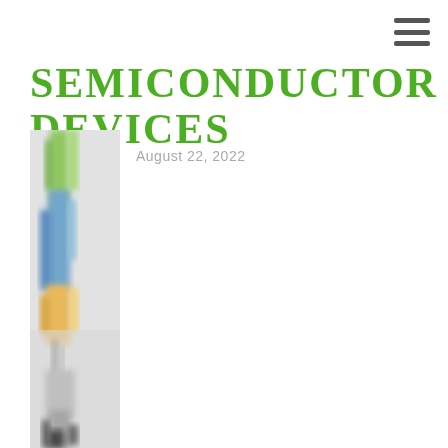☰
SEMICONDUCTOR DEVICES
August 22, 2022
[Figure (photo): Blurred vertical photo of semiconductor device or electronic component, showing green, blue, yellow, and black colors in a bokeh/motion-blur style]